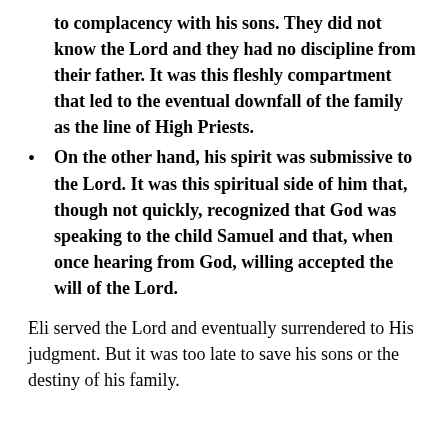to complacency with his sons. They did not know the Lord and they had no discipline from their father. It was this fleshly compartment that led to the eventual downfall of the family as the line of High Priests.
On the other hand, his spirit was submissive to the Lord. It was this spiritual side of him that, though not quickly, recognized that God was speaking to the child Samuel and that, when once hearing from God, willing accepted the will of the Lord.
Eli served the Lord and eventually surrendered to His judgment. But it was too late to save his sons or the destiny of his family.